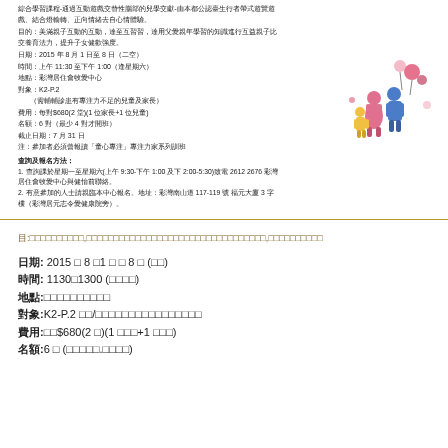綜合學習課程-通過互動遊戲交替性腦部的兒學交獻-由本都公認臺生行者帶式遊覽遊戲、結合燈輸轉、正向情緒去自心情體驗。
目的：美滿親子互動的互動，達至互習習，達用父愛親年學習的知識進行互益親子比交養育法力，提升子女健歡強度。
日期：2015 年 8 月 1 日至 8 日（二空）
時間：上午 11:30 至下午 1:00（逢星期六）
地點：彩灣居住會牧愛中心
對象：K2-P.2
（需輔輔診患有專注力不足的兒童及家長）
費用：每對$680(2 堂)(1 位家長+1 位兒童)
名額：6 對（最少 4 對才開班）
截止日期：7 月 31 日
注：參加者必須曾報讀「童心專注」專注力家系列訓班
查詢及報名方法：
1. 查詢課於星期一至星期六(上午 9:30-下午 1:00 及下 2:00-5:30)致電 2612 2676 彩灣居住會牧愛中心與健怡前聯絡。
2. 有意參加的人士請親臨本中心報名。地址：彩灣南山道 117-119 號 福元大廈 3 字樓（彩灣居元志令愛健康院旁）。
目:□□□□□□□□□□,□□□□□□□□□□□□□□□□□□□□□□□□□□□□□□□□□,□□□□□□□□□□
日期: 2015 □ 8 □1 □ □ 8 □ (□□)
時間: 1130□1300 (□□□□)
地點:□□□□□□□□□□
對象:K2-P.2 □□/□□□□□□□□□□□□□□□□
費用:□□$680(2 □)(1 □□□+1 □□□)
名額:6 □ (□□□□□.□□□□)